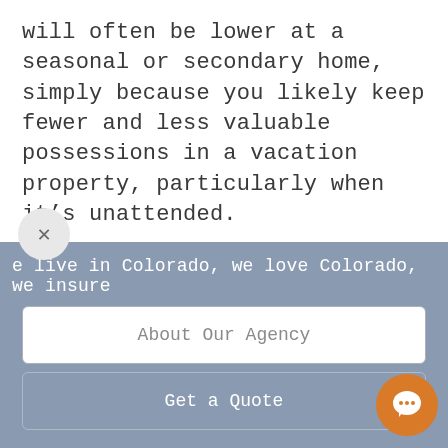will often be lower at a seasonal or secondary home, simply because you likely keep fewer and less valuable possessions in a vacation property, particularly when it's unattended.
Because of these two factors, it's well worth taking the time to find a vacation home insurance policy that provides you with the specific coverage you need at a fair price. We'll
e live in Colorado, we love Colorado, we insure
About Our Agency
Get a Quote